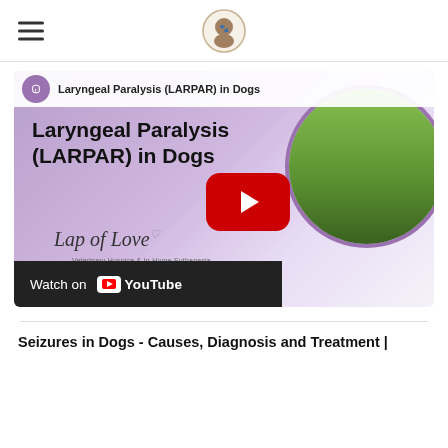Lap of Love logo and navigation
[Figure (screenshot): YouTube video thumbnail for 'Laryngeal Paralysis (LARPAR) in Dogs' by Lap of Love Veterinary Hospice & In-Home Euthanasia, with a Watch on YouTube button at the bottom.]
Seizures in Dogs - Causes, Diagnosis and Treatment |